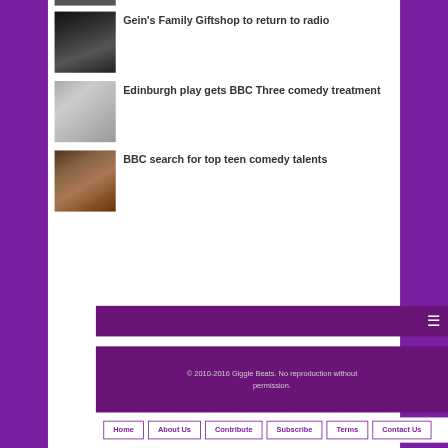[Figure (photo): Partial black and white photo at top, cropped]
Gein's Family Giftshop to return to radio
[Figure (photo): Black and white portrait photo of a woman]
Edinburgh play gets BBC Three comedy treatment
[Figure (photo): Color photo of a man with glasses and beard]
BBC search for top teen comedy talents
© 2010-2016 Giggle Beats. No reproduction without permission.
Home | About Us | Contribute | Subscribe | Terms | Contact Us